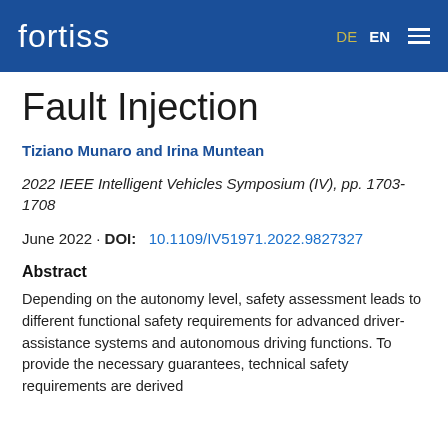fortiss | DE EN
Fault Injection
Tiziano Munaro and Irina Muntean
2022 IEEE Intelligent Vehicles Symposium (IV), pp. 1703-1708
June 2022 · DOI:   10.1109/IV51971.2022.9827327
Abstract
Depending on the autonomy level, safety assessment leads to different functional safety requirements for advanced driver-assistance systems and autonomous driving functions. To provide the necessary guarantees, technical safety requirements are derived